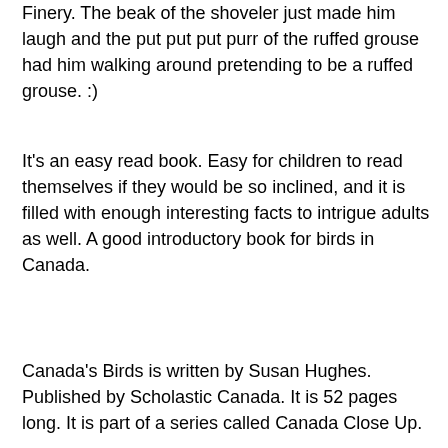Finery.  The beak of the shoveler just made him laugh and the put put put purr of the ruffed grouse had him walking around pretending to be a ruffed grouse.  :)
It's an easy read book.  Easy for children to read themselves if they would be so inclined, and it is filled with enough interesting facts to intrigue adults as well.  A good introductory book for birds in Canada.
Canada's Birds is written by Susan Hughes.  Published by Scholastic Canada.  It is 52 pages long.  It is part of a series called Canada Close Up.